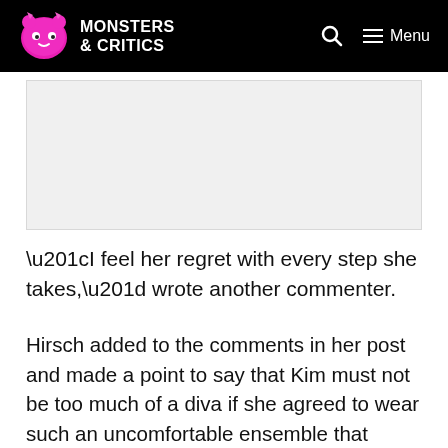MONSTERS & CRITICS — Menu
[Figure (other): Advertisement placeholder box]
“I feel her regret with every step she takes,” wrote another commenter.
Hirsch added to the comments in her post and made a point to say that Kim must not be too much of a diva if she agreed to wear such an uncomfortable ensemble that prevented her from doing some of the most ordinary tasks.